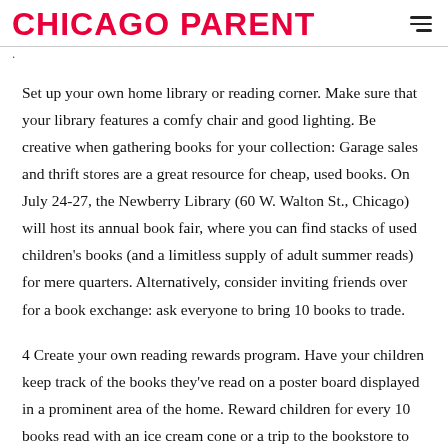CHICAGO PARENT
.
Set up your own home library or reading corner. Make sure that your library features a comfy chair and good lighting. Be creative when gathering books for your collection: Garage sales and thrift stores are a great resource for cheap, used books. On July 24-27, the Newberry Library (60 W. Walton St., Chicago) will host its annual book fair, where you can find stacks of used children’s books (and a limitless supply of adult summer reads) for mere quarters. Alternatively, consider inviting friends over for a book exchange: ask everyone to bring 10 books to trade.
4 Create your own reading rewards program. Have your children keep track of the books they’ve read on a poster board displayed in a prominent area of the home. Reward children for every 10 books read with an ice cream cone or a trip to the bookstore to buy a new book.